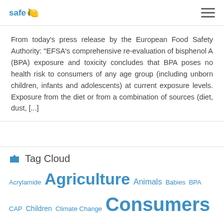safe
From today’s press release by the European Food Safety Authority: “EFSA’s comprehensive re-evaluation of bisphenol A (BPA) exposure and toxicity concludes that BPA poses no health risk to consumers of any age group (including unborn children, infants and adolescents) at current exposure levels. Exposure from the diet or from a combination of sources (diet, dust, […]
Tag Cloud
Acrylamide Agriculture Animals Babies BPA CAP Children Climate Change Consumers E171 EFSA Endocrine disruptors Environment EU European